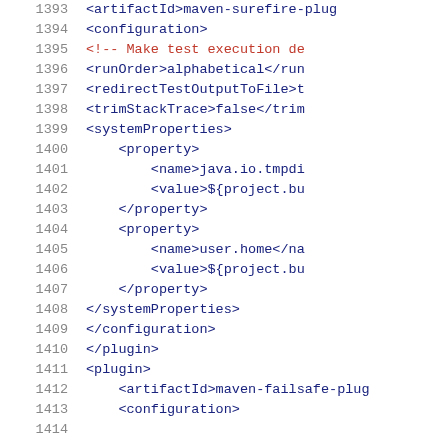[Figure (screenshot): XML/Maven POM configuration code snippet showing lines 1393-1414, with line numbers on the left in gray and XML code in dark blue/red (comments) monospace font. Lines include maven-surefire-plugin configuration with runOrder, redirectTestOutputToFile, trimStackTrace, systemProperties with java.io.tmpdir and user.home properties, closing tags for configuration, plugin, new plugin opening, maven-failsafe-plugin, and configuration.]